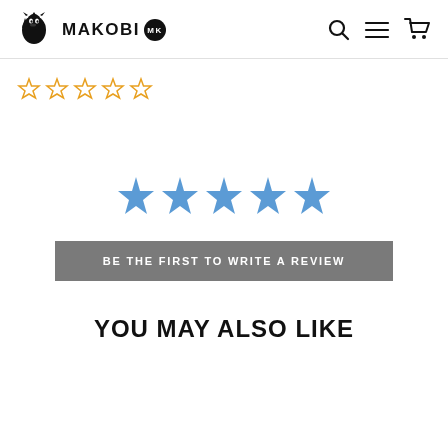MAKOBI MK
[Figure (other): Five orange outline star rating icons]
[Figure (other): Five solid blue star icons for rating]
BE THE FIRST TO WRITE A REVIEW
YOU MAY ALSO LIKE